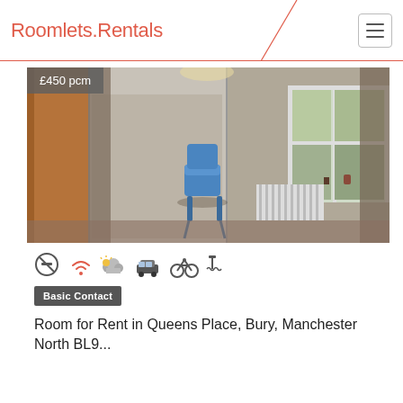Roomlets.Rentals
[Figure (photo): Interior bedroom photo showing a blue chair, mirrored wardrobe, window with curtains, and radiator. Price badge reads £450 pcm.]
£450 pcm
[Figure (infographic): Row of amenity icons: no smoking, wifi, partly cloudy weather, car parking, bicycle, and shower/tap icon]
Basic Contact
Room for Rent in Queens Place, Bury, Manchester North BL9...